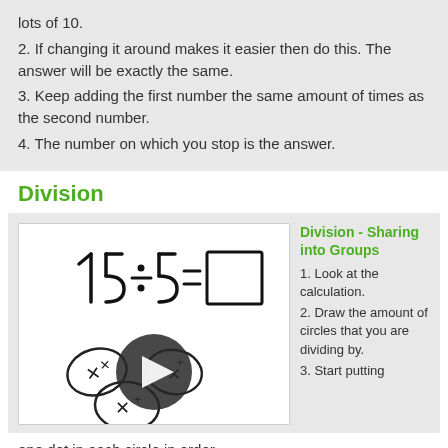lots of 10.
2. If changing it around makes it easier then do this. The answer will be exactly the same.
3. Keep adding the first number the same amount of times as the second number.
4. The number on which you stop is the answer.
Division
[Figure (screenshot): Video thumbnail showing handwritten division equation 15÷5=□ with drawn circles containing dots, and a play button overlay.]
Division - Sharing into Groups
1. Look at the calculation.
2. Draw the amount of circles that you are dividing by.
3. Start putting one dot in each circle in order.